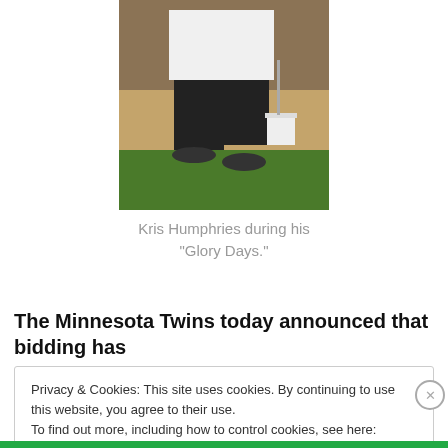[Figure (photo): Photo of Kris Humphries standing on a baseball field in a pinstripe jersey and dark jeans, with a white bucket visible in the background on the infield dirt.]
Kris Humphries during his "Glory Days."
The Minnesota Twins today announced that bidding has
Privacy & Cookies: This site uses cookies. By continuing to use this website, you agree to their use.
To find out more, including how to control cookies, see here: Cookie Policy